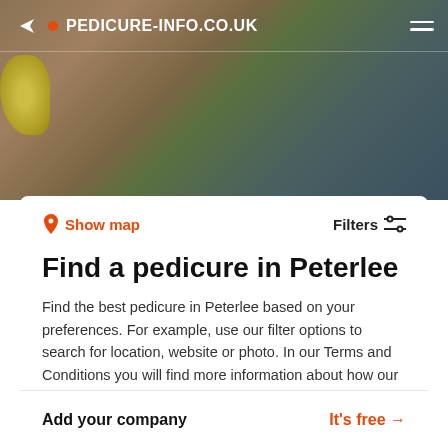PEDICURE-INFO.CO.UK
[Figure (screenshot): Search bar with placeholder text: Search by city, company name or service]
Show map
Filters
Find a pedicure in Peterlee
Find the best pedicure in Peterlee based on your preferences. For example, use our filter options to search for location, website or photo. In our Terms and Conditions you will find more information about how our search results are generated.
Add your company
It's free →